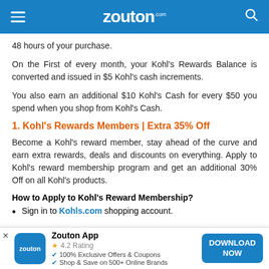zouton.com
48 hours of your purchase.
On the First of every month, your Kohl's Rewards Balance is converted and issued in $5 Kohl's cash increments.
You also earn an additional $10 Kohl's Cash for every $50 you spend when you shop from Kohl's Cash.
1. Kohl's Rewards Members | Extra 35% Off
Become a Kohl's reward member, stay ahead of the curve and earn extra rewards, deals and discounts on everything. Apply to Kohl's reward membership program and get an additional 30% Off on all Kohl's products.
How to Apply to Kohl's Reward Membership?
Sign in to Kohls.com shopping account.